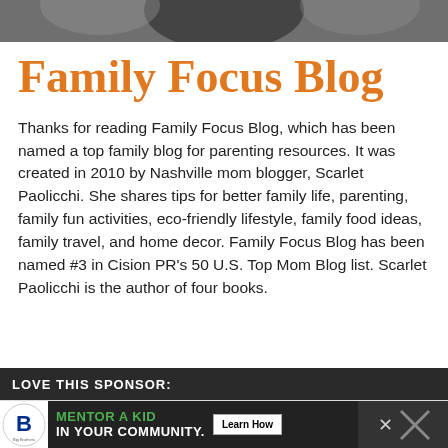[Figure (photo): Top portion of a decorative image, partially cropped, showing dark tones]
Family Focus Blog
Thanks for reading Family Focus Blog, which has been named a top family blog for parenting resources. It was created in 2010 by Nashville mom blogger, Scarlet Paolicchi. She shares tips for better family life, parenting, family fun activities, eco-friendly lifestyle, family food ideas, family travel, and home decor. Family Focus Blog has been named #3 in Cision PR's 50 U.S. Top Mom Blog list. Scarlet Paolicchi is the author of four books.
LOVE THIS SPONSOR:
[Figure (infographic): Big Brothers Big Sisters advertisement banner: MENTOR A KID IN YOUR COMMUNITY. Learn How button. Logo with letter B.]